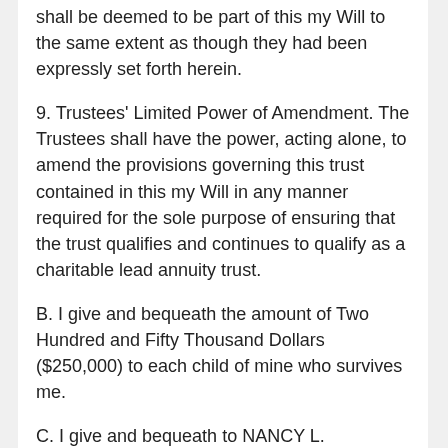shall be deemed to be part of this my Will to the same extent as though they had been expressly set forth herein.
9. Trustees' Limited Power of Amendment. The Trustees shall have the power, acting alone, to amend the provisions governing this trust contained in this my Will in any manner required for the sole purpose of ensuring that the trust qualifies and continues to qualify as a charitable lead annuity trust.
B. I give and bequeath the amount of Two Hundred and Fifty Thousand Dollars ($250,000) to each child of mine who survives me.
C. I give and bequeath to NANCY L. TUCKERMAN, if she survived me, the